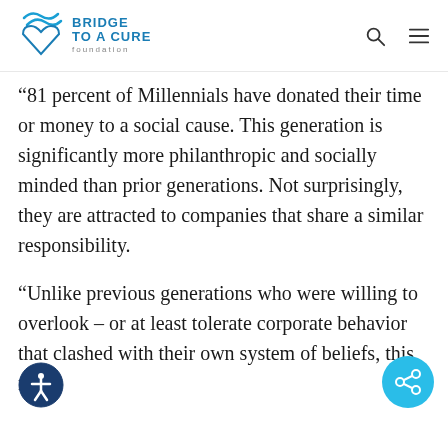Bridge To A Cure Foundation [logo] [search icon] [menu icon]
“81 percent of Millennials have donated their time or money to a social cause. This generation is significantly more philanthropic and socially minded than prior generations. Not surprisingly, they are attracted to companies that share a similar responsibility.
“Unlike previous generations who were willing to overlook – or at least tolerate corporate behavior that clashed with their own system of beliefs, this new